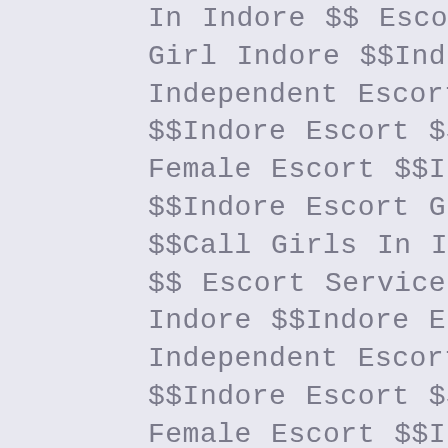In Indore $$ Escort Service In Indore $$Call Girl Indore $$Indore Escort Service $$Indore Independent Escort $$Indore Escorts Services $$Indore Escort $$Indore Escorts $$Indore Female Escort $$Indore Call Girls Services $$Indore Escort Girls $$Indore Call Girl $$Call Girls In Indore $$Escorts In Indore $$ Escort Service In Indore $$Call Girl Indore $$Indore Escort Service $$Indore Independent Escort $$Indore Escorts Services $$Indore Escort $$Indore Escorts $$Indore Female Escort $$Indore Call Girls Services $$Indore Escort Girls $$Indore Call Girl $$Call Girls In Indore $$Escorts In Indore $$ Escort Service In Indore $$Call Girl Indore $$Indore Escort Service $$Indore Independent Escort $$Indore Escorts Services $$Indore Escort $$Indore Escorts $$Indore Female Escort $$Indore Call Girls Services $$Indore Escort Girls $$Indore Call Girl $$Call Girls In Indore $$Escorts In Indore $$ Escort Service In Indore $$Call Girl Indore $$Indore Escort Service $$Indore Independent Escort $$Indore Escorts Services $$Indore Escort